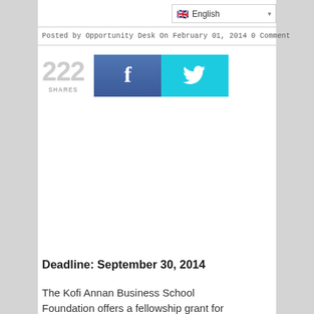English
Posted by Opportunity Desk On February 01, 2014 0 Comment
[Figure (infographic): Social share count showing 222 SHARES with Facebook and Twitter share buttons]
Deadline: September 30, 2014
The Kofi Annan Business School Foundation offers a fellowship grant for